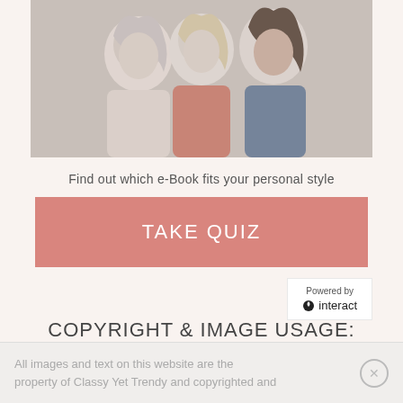[Figure (photo): Three smiling women posing together, photographed in a warm-toned studio setting. The women are huddled close together and laughing.]
Find out which e-Book fits your personal style
TAKE QUIZ
Powered by interact
COPYRIGHT & IMAGE USAGE:
All images and text on this website are the property of Classy Yet Trendy and copyrighted and